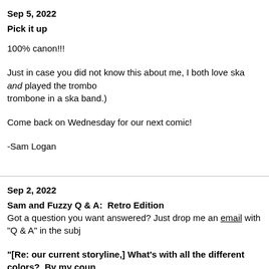Sep 5, 2022
Pick it up
100% canon!!!
Just in case you did not know this about me, I both love ska and played the trombone in a ska band.)
Come back on Wednesday for our next comic!
-Sam Logan
Sep 2, 2022
Sam and Fuzzy Q & A:  Retro Edition
Got a question you want answered? Just drop me an email with "Q & A" in the subj
"[Re: our current storyline,] What's with all the different colors?  By my count panels are using 50% more colors than comicks from samandfuzzy.com's firs